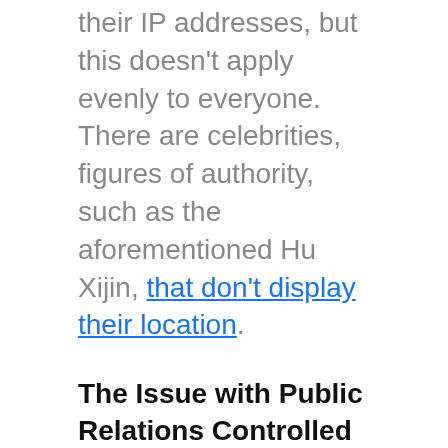their IP addresses, but this doesn't apply evenly to everyone. There are celebrities, figures of authority, such as the aforementioned Hu Xijin, that don't display their location.
The Issue with Public Relations Controlled Accounts
Within the first few days of implementation, people noticed a discrepancy with foreign celebrity accounts. The accounts of celebrities like Bill Gates, Leo Messi, and Elon Musk show that they are located in China even though they don't